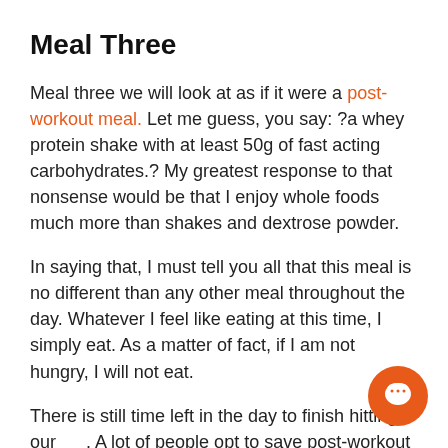Meal Three
Meal three we will look at as if it were a post-workout meal. Let me guess, you say: ?a whey protein shake with at least 50g of fast acting carbohydrates.? My greatest response to that nonsense would be that I enjoy whole foods much more than shakes and dextrose powder.
In saying that, I must tell you all that this meal is no different than any other meal throughout the day. Whatever I feel like eating at this time, I simply eat. As a matter of fact, if I am not hungry, I will not eat.
There is still time left in the day to finish hitting our [goals]. A lot of people opt to save post-workout nutrition for [the] big meal? or cheat meal. They believe that everything post-